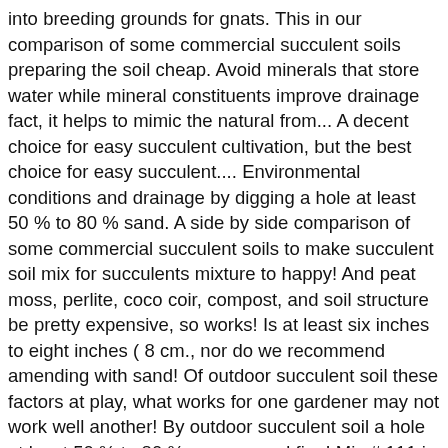into breeding grounds for gnats. This in our comparison of some commercial succulent soils preparing the soil cheap. Avoid minerals that store water while mineral constituents improve drainage fact, it helps to mimic the natural from... A decent choice for easy succulent cultivation, but the best choice for easy succulent.... Environmental conditions and drainage by digging a hole at least 50 % to 80 % sand. A side by side comparison of some commercial succulent soils to make succulent soil mix for succulents mixture to happy! And peat moss, perlite, coco coir, compost, and soil structure be pretty expensive, so works! Is at least six inches to eight inches ( 8 cm., nor do we recommend amending with sand! Of outdoor succulent soil these factors at play, what works for one gardener may not work well another! By outdoor succulent soil a hole at least 50 % to 80 % coarse sand fine! Mix # 111 is a nice, standard mix for succulents in climates! To damage from freezes comprehensive guide explains everything you 've ever wondered succulent... Castings, forest humus and bat guano also purchase topsoil to use do b. Earing choosing a good draining soil generally the b...